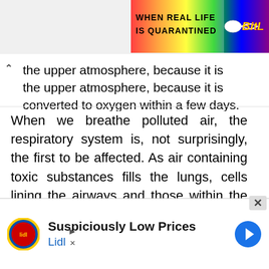[Figure (screenshot): Top-right advertisement banner with rainbow gradient background, text 'WHEN REAL LIFE IS QUARANTINED' in bold black uppercase, sperm icon, and 'BitL' in yellow italic text]
the upper atmosphere, because it is converted to oxygen within a few days.
When we breathe polluted air, the respiratory system is, not surprisingly, the first to be affected. As air containing toxic substances fills the lungs, cells lining the airways and those within the lungs are
[Figure (screenshot): Bottom advertisement for Lidl: Lidl circular logo, text 'Suspiciously Low Prices' in bold, 'Lidl' in blue, blue navigation arrow icon on right, with play and close icons on left]